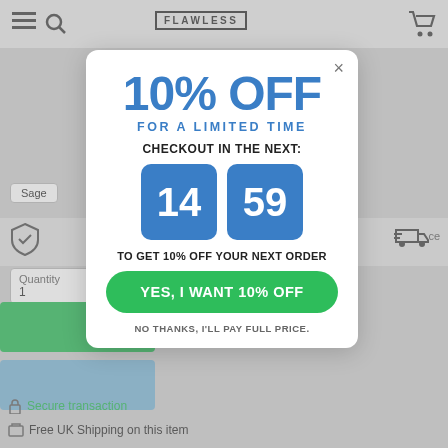[Figure (screenshot): E-commerce product page background with navigation bar, Flawless logo, cart icon, shield icon, quantity selector, green add-to-cart button, blue button, secure transaction and free UK shipping text]
10% OFF
FOR A LIMITED TIME
CHECKOUT IN THE NEXT:
14   59
TO GET 10% OFF YOUR NEXT ORDER
YES, I WANT 10% OFF
NO THANKS, I'LL PAY FULL PRICE.